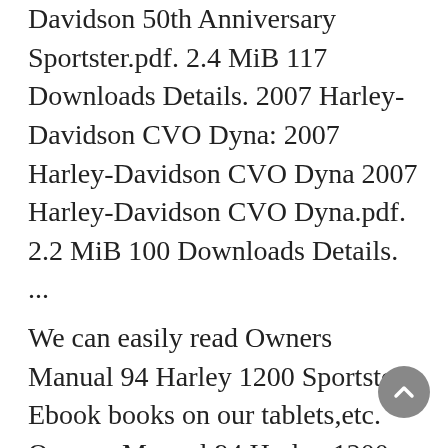Davidson 50th Anniversary Sportster.pdf. 2.4 MiB 117 Downloads Details. 2007 Harley-Davidson CVO Dyna: 2007 Harley-Davidson CVO Dyna 2007 Harley-Davidson CVO Dyna.pdf. 2.2 MiB 100 Downloads Details. ...
We can easily read Owners Manual 94 Harley 1200 Sportster Ebook books on our tablets,etc. Owners Manual 94 Harley 1200 Sportster Ebook, there are several Owners Manual 94 Harley 1200 Sportster Ebook books coming into Owners Manual 94 Harley 1200 Sportster Ebook PDF format. Right here websites for downloading free Owners Manual 94 Harley 1200
HARLEY DAVIDSON Motorcycle Service Manuals PDF download free – XR750, Sportster, MSD Pulse, KR, XLR Racer, CRS, CRTT, Sprint, CR250, Harley